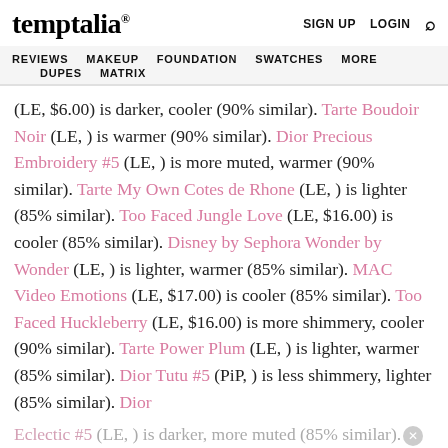temptalia® | SIGN UP  LOGIN  🔍
REVIEWS  MAKEUP  FOUNDATION  SWATCHES  MORE  DUPES  MATRIX
(LE, $6.00) is darker, cooler (90% similar). Tarte Boudoir Noir (LE, ) is warmer (90% similar). Dior Precious Embroidery #5 (LE, ) is more muted, warmer (90% similar). Tarte My Own Cotes de Rhone (LE, ) is lighter (85% similar). Too Faced Jungle Love (LE, $16.00) is cooler (85% similar). Disney by Sephora Wonder by Wonder (LE, ) is lighter, warmer (85% similar). MAC Video Emotions (LE, $17.00) is cooler (85% similar). Too Faced Huckleberry (LE, $16.00) is more shimmery, cooler (90% similar). Tarte Power Plum (LE, ) is lighter, warmer (85% similar). Dior Tutu #5 (PiP, ) is less shimmery, lighter (85% similar). Dior Eclectic #5 (LE, ) is darker, more muted (85% similar). Chanel Tisse Beverly Hills #4 (PiP, ) is cooler (85%